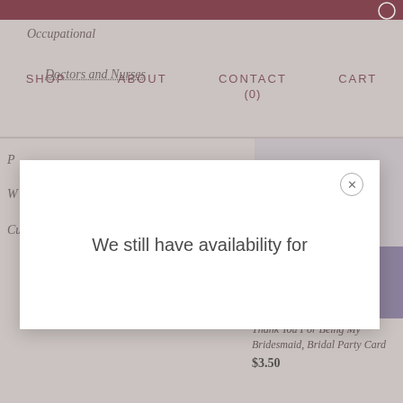SHOP   ABOUT   CONTACT (0)   CART
Occupational
Doctors and Nurses
P
W
Cu
[Figure (photo): Product image area showing a purple diagonal shape on grey background]
Thank You For Being My Bridesmaid, Bridal Party Card
$3.50
We still have availability for